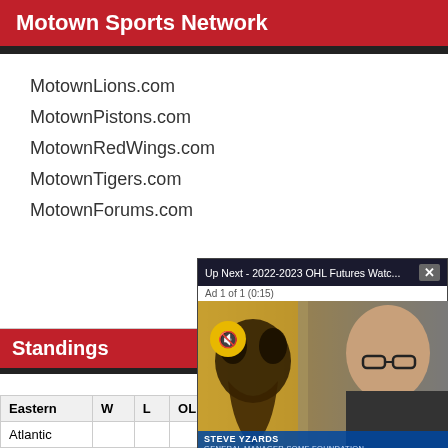Motown Sports Network
MotownLions.com
MotownPistons.com
MotownRedWings.com
MotownTigers.com
MotownForums.com
Standings
| Eastern | W | L | OL |
| --- | --- | --- | --- |
| Atlantic |  |  |  |
[Figure (screenshot): Video popup overlay showing 'Up Next - 2022-2023 OHL Futures Watc...' with a man in glasses speaking, mascot visible, mute button shown, and 'Ad 1 of 1 (0:15)' text. Name bar reads 'STEVE YZARDS' and subtitle below.]